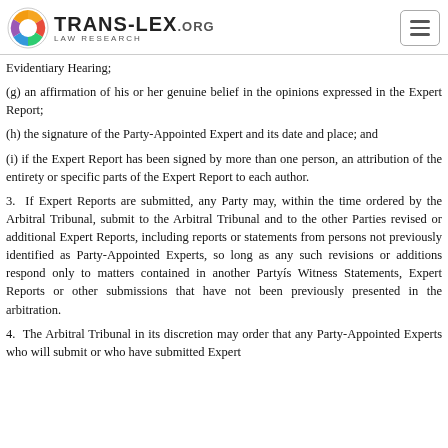TRANS-LEX.ORG LAW RESEARCH
Evidentiary Hearing;
(g) an affirmation of his or her genuine belief in the opinions expressed in the Expert Report;
(h) the signature of the Party-Appointed Expert and its date and place; and
(i) if the Expert Report has been signed by more than one person, an attribution of the entirety or specific parts of the Expert Report to each author.
3.  If Expert Reports are submitted, any Party may, within the time ordered by the Arbitral Tribunal, submit to the Arbitral Tribunal and to the other Parties revised or additional Expert Reports, including reports or statements from persons not previously identified as Party-Appointed Experts, so long as any such revisions or additions respond only to matters contained in another Partyís Witness Statements, Expert Reports or other submissions that have not been previously presented in the arbitration.
4.  The Arbitral Tribunal in its discretion may order that any Party-Appointed Experts who will submit or who have submitted Expert